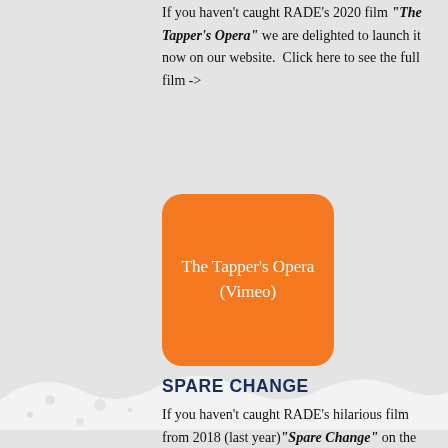If you haven't caught RADE's 2020 film "The Tapper's Opera" we are delighted to launch it now on our website.  Click here to see the full film ->
[Figure (other): Orange rounded rectangle button with white text reading 'The Tapper's Opera (Vimeo)']
SPARE CHANGE
If you haven't caught RADE's hilarious film from 2018 (last year) "Spare Change" on the big screen, we are delighted to launch it now on our website.  Click here to see the full film ->
[Figure (photo): Photo strip showing 'Spare Change' text on dark banner overlay, with brick building in background]